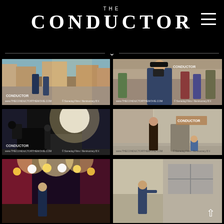THE CONDUCTOR
[Figure (photo): Behind-the-scenes photo on a period street set, two people walking]
[Figure (photo): Man in black cap using a camera viewfinder on a crowded set]
[Figure (photo): Film crew with camera equipment on dark night street set]
[Figure (photo): Woman in period costume standing on steps of ornate building]
[Figure (photo): Person on stage with dramatic lighting and spotlights]
[Figure (photo): Outdoor scene with person gesturing, architectural background]